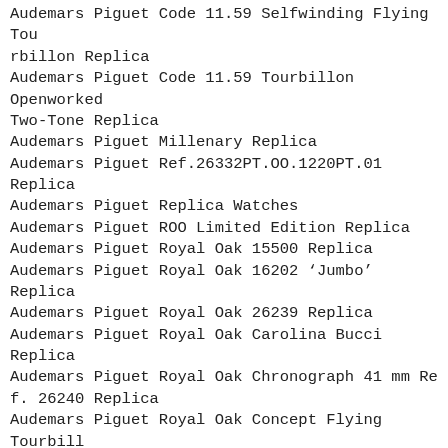Audemars Piguet Code 11.59 Selfwinding Flying Tourbillon Replica
Audemars Piguet Code 11.59 Tourbillon Openworked Two-Tone Replica
Audemars Piguet Millenary Replica
Audemars Piguet Ref.26332PT.OO.1220PT.01 Replica
Audemars Piguet Replica Watches
Audemars Piguet ROO Limited Edition Replica
Audemars Piguet Royal Oak 15500 Replica
Audemars Piguet Royal Oak 16202 ‘Jumbo’ Replica
Audemars Piguet Royal Oak 26239 Replica
Audemars Piguet Royal Oak Carolina Bucci Replica
Audemars Piguet Royal Oak Chronograph 41 mm Ref. 26240 Replica
Audemars Piguet Royal Oak Concept Flying Tourbillon GMT Replica
Audemars Piguet Royal Oak Concept Replica
Audemars Piguet Royal Oak Extra Thin Replica
Audemars Piguet Royal Oak Jumbo Replica